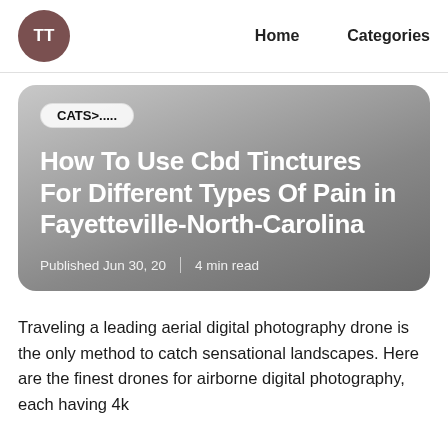TT  Home  Categories
[Figure (other): Article card with gradient gray background, category badge reading 'CATS>.....' , article title 'How To Use Cbd Tinctures For Different Types Of Pain in Fayetteville-North-Carolina', and meta line 'Published Jun 30, 20 | 4 min read']
Traveling a leading aerial digital photography drone is the only method to catch sensational landscapes. Here are the finest drones for airborne digital photography, each having 4k